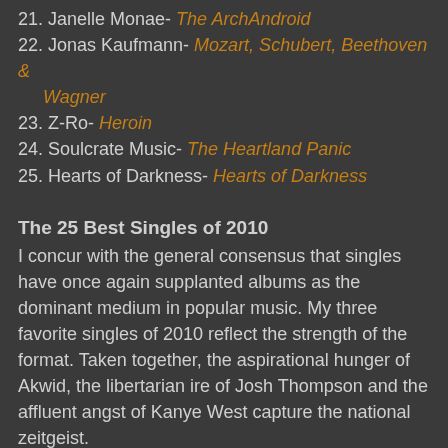21. Janelle Monae- The ArchAndroid
22. Jonas Kaufmann- Mozart, Schubert, Beethoven & Wagner
23. Z-Ro- Heroin
24. Soulcrate Music- The Heartland Panic
25. Hearts of Darkness- Hearts of Darkness
The 25 Best Singles of 2010
I concur with the general consensus that singles have once again supplanted albums as the dominant medium in popular music. My three favorite singles of 2010 reflect the strength of the format. Taken together, the aspirational hunger of Akwid, the libertarian ire of Josh Thompson and the affluent angst of Kanye West capture the national zeitgeist.
1. Akwid- "California"
2. Josh Thompson- "Way Out Here"
3. Kanye West- "Power"
4. Leela James- "Tell Me You Love Me"
5. DJ Khaled- "All I Do Is Win"
6. The Black Keys- "Tighten Up"
7. Antoine Dodson- "Bed Intruder"